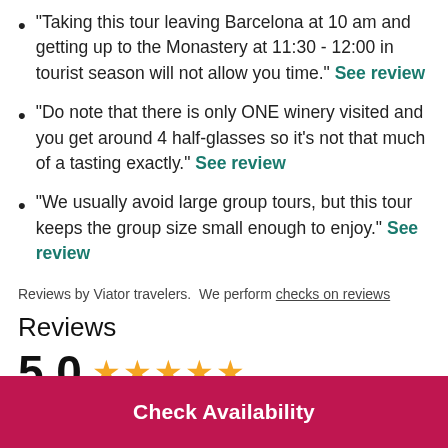"Taking this tour leaving Barcelona at 10 am and getting up to the Monastery at 11:30 - 12:00 in tourist season will not allow you time." See review
"Do note that there is only ONE winery visited and you get around 4 half-glasses so it's not that much of a tasting exactly." See review
"We usually avoid large group tours, but this tour keeps the group size small enough to enjoy." See review
Reviews by Viator travelers.  We perform checks on reviews
Reviews
5.0 ★★★★★
Check Availability